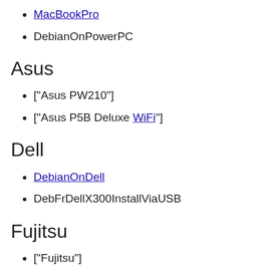MacBookPro
DebianOnPowerPC
Asus
["Asus PW210"]
["Asus P5B Deluxe WiFi"]
Dell
DebianOnDell
DebFrDellX300InstallViaUSB
Fujitsu
["Fujitsu"]
HP/Compaq